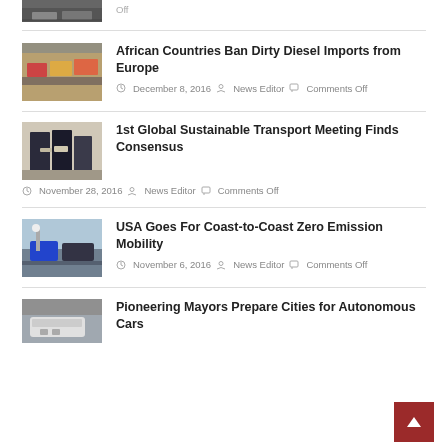[Figure (photo): Partial thumbnail of a car/traffic scene at top]
Off
[Figure (photo): Thumbnail of traffic/cars scene]
African Countries Ban Dirty Diesel Imports from Europe
December 8, 2016  News Editor  Comments Off
[Figure (photo): Thumbnail of two men shaking hands]
1st Global Sustainable Transport Meeting Finds Consensus
November 28, 2016  News Editor  Comments Off
[Figure (photo): Thumbnail of electric vehicle charging station]
USA Goes For Coast-to-Coast Zero Emission Mobility
November 6, 2016  News Editor  Comments Off
[Figure (photo): Partial thumbnail of autonomous car]
Pioneering Mayors Prepare Cities for Autonomous Cars